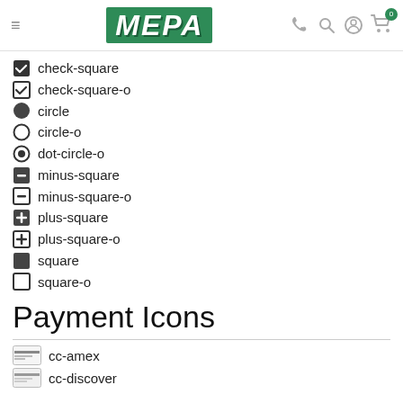[Figure (screenshot): MEPA website header with hamburger menu, green MEPA logo, and icons for phone, search, account, and cart (badge showing 0)]
check-square
check-square-o
circle
circle-o
dot-circle-o
minus-square
minus-square-o
plus-square
plus-square-o
square
square-o
Payment Icons
cc-amex
cc-discover